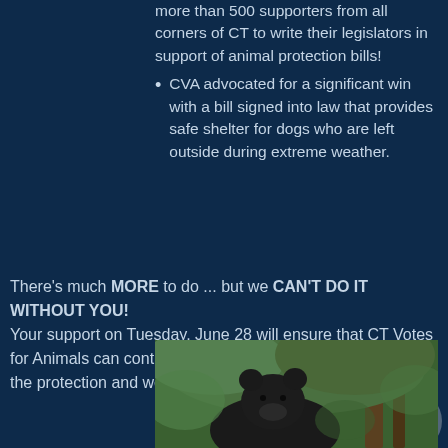more than 500 supporters from all corners of CT to write their legislators in support of animal protection bills!
CVA advocated for a significant win with a bill signed into law that provides safe shelter for dogs who are left outside during extreme weather.
There's much MORE to do ... but we CAN'T DO IT WITHOUT YOU! Your support on Tuesday, June 28 will ensure that CT Votes for Animals can continue to work on critical issues to support the protection and well-being of animals in our state!
[Figure (photo): A black bear among green trees in a natural outdoor setting]